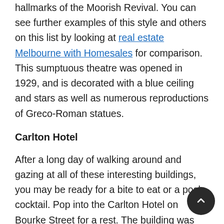hallmarks of the Moorish Revival. You can see further examples of this style and others on this list by looking at real estate Melbourne with Homesales for comparison. This sumptuous theatre was opened in 1929, and is decorated with a blue ceiling and stars as well as numerous reproductions of Greco-Roman statues.
Carlton Hotel
After a long day of walking around and gazing at all of these interesting buildings, you may be ready for a bite to eat or a posh cocktail. Pop into the Carlton Hotel on Bourke Street for a rest. The building was originally a seedy bar, but has been refurbished by Tracey Lester in true surreal style, with no shortage of stuffed birds,